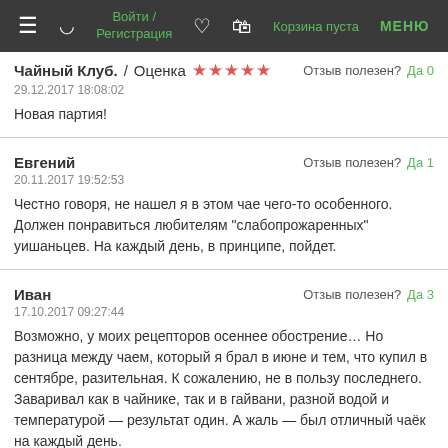Войти / Регистрация   Корзина пуста   МЕНЮ
Чайный Клуб. / Оценка ★★★★★  Отзыв полезен? Да 0
29.12.2017 18:08:02
Новая партия!
Евгений
20.11.2017 19:52:53
Отзыв полезен? Да 1
Честно говоря, не нашел я в этом чае чего-то особенного. Должен понравиться любителям "слабопрожаренных" уишаньцев. На каждый день, в принципе, пойдет.
Иван
17.10.2017 09:27:44
Отзыв полезен? Да 3
Возможно, у моих рецепторов осеннее обострение… Но разница между чаем, который я брал в июне и тем, что купил в сентябре, разительная. К сожалению, не в пользу последнего. Заваривал как в чайнике, так и в гайвани, разной водой и температурой — результат один. А жаль — был отличный чаёк на каждый день.